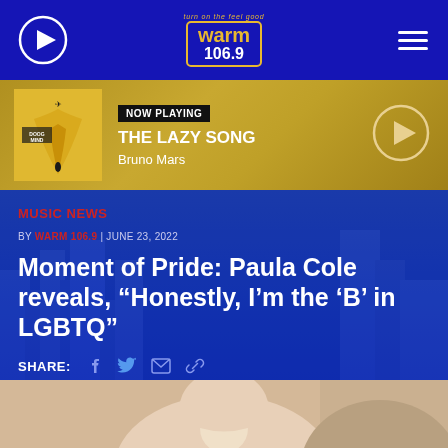warm 106.9
[Figure (screenshot): Now playing bar showing Bruno Mars - The Lazy Song album art and song info]
MUSIC NEWS
BY WARM 106.9 | JUNE 23, 2022
Moment of Pride: Paula Cole reveals, “Honestly, I’m the ‘B’ in LGBTQ”
SHARE:
[Figure (photo): Partial photo of Paula Cole at bottom of page]